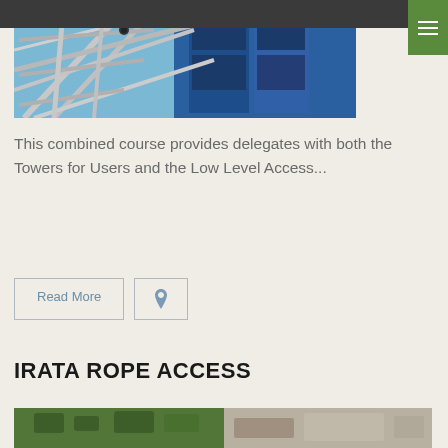[Figure (photo): Close-up photo of metal scaffolding with blue building panels in the background, taken from a low angle against a blue sky.]
This combined course provides delegates with both the Towers for Users and the Low Level Access...
Read More
IRATA ROPE ACCESS
[Figure (photo): Partial view of a photo at the bottom of the page, showing an outdoor scene related to rope access.]